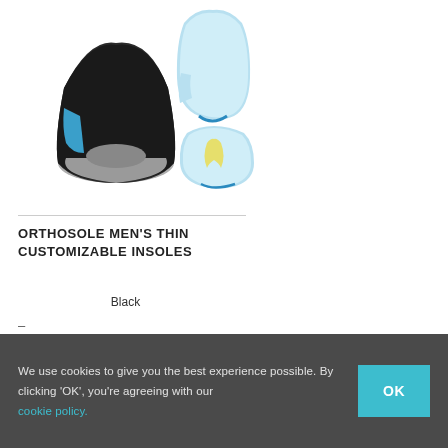[Figure (photo): Product photo of OrthoSole men's thin customizable insoles showing black insole with grey/blue accents on left and blue/light blue gel insole components on right]
ORTHOSOLE MEN'S THIN CUSTOMIZABLE INSOLES
Black
We use cookies to give you the best experience possible. By clicking 'OK', you're agreeing with our cookie policy.